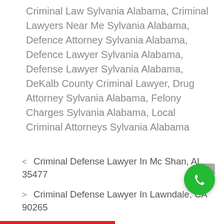Criminal Law Sylvania Alabama, Criminal Lawyers Near Me Sylvania Alabama, Defence Attorney Sylvania Alabama, Defence Lawyer Sylvania Alabama, Defense Lawyer Sylvania Alabama, DeKalb County Criminal Lawyer, Drug Attorney Sylvania Alabama, Felony Charges Sylvania Alabama, Local Criminal Attorneys Sylvania Alabama
< Criminal Defense Lawyer In Mc Shan, AL 35477
> Criminal Defense Lawyer In Lawndale, CA 90265